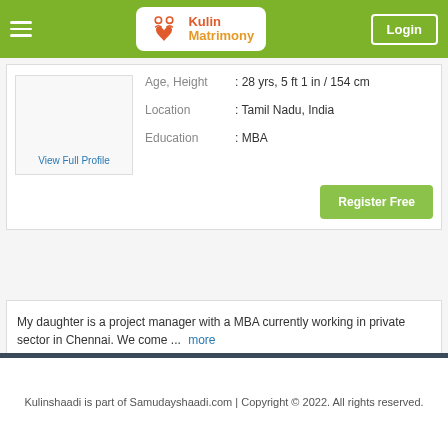Kulin Matrimony — Login
Age, Height : 28 yrs, 5 ft 1 in / 154 cm
Location : Tamil Nadu, India
Education : MBA
View Full Profile
Register Free
My daughter is a project manager with a MBA currently working in private sector in Chennai. We come ... more
Kulinshaadi is part of Samudayshaadi.com | Copyright © 2022. All rights reserved.